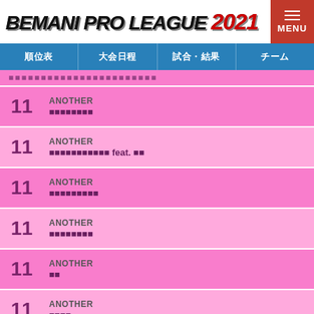BEMANI PRO LEAGUE 2021
順位表 大会日程 試合・結果 チーム
（文字化けテキスト）
11 ANOTHER ■■■■■■■■
11 ANOTHER ■■■■■■■■■■■ feat. ■■
11 ANOTHER ■■■■■■■■■
11 ANOTHER ■■■■■■■■
11 ANOTHER ■■
11 ANOTHER ■■■■
11 ANOTHER ■■■■■Next stAge■
11 ANOTHER ■■■■
11 ANOTHER ■■■■■■■■■■